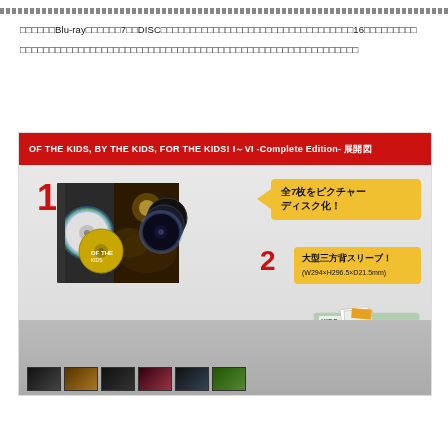全シリーズBlu-ray全7枚をDISC化！ピクチャーディスク化！大型三方背スリーブ！16枚のフォトカード
コンサートフィルムを一挙収録したコンプリートエディション。全シリーズの映像を収録。
[Figure (photo): Product spread diagram showing 'OF THE KIDS, BY THE KIDS, FOR THE KIDS! I~VI -Complete Edition- 展開図'. The image shows Blu-ray disc box set contents: a disc book with picture discs labeled '1' showing multiple colored picture discs, and item '2' showing a large three-sided sleeve (大型三方背スリーブ) with dimensions W294×H296.5×D21.5mm. Yellow callout boxes with Japanese text. Bottom shows photo cards and boxset components.]